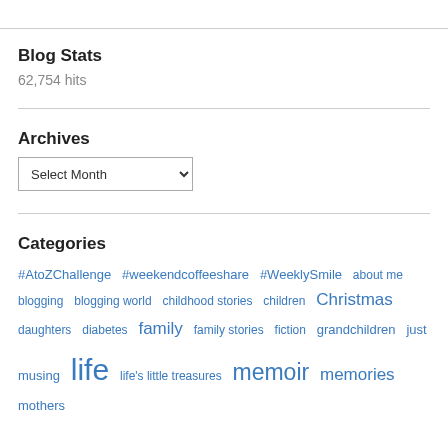Blog Stats
62,754 hits
Archives
Select Month (dropdown)
Categories
#AtoZChallenge  #weekendcoffeeshare  #WeeklySmile  about me  blogging  blogging world  childhood stories  children  Christmas  daughters  diabetes  family  family stories  fiction  grandchildren  just musing  life  life's little treasures  memoir  memories  mothers